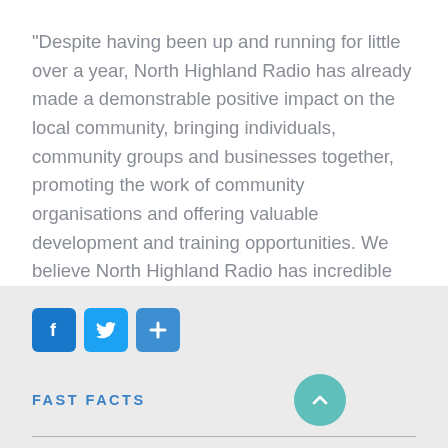“Despite having been up and running for little over a year, North Highland Radio has already made a demonstrable positive impact on the local community, bringing individuals, community groups and businesses together, promoting the work of community organisations and offering valuable development and training opportunities. We believe North Highland Radio has incredible potential to benefit the community and are pleased to be able to provide this injection of capital to help it reach its full potential.”
[Figure (infographic): Social media sharing icons: Facebook (blue square with f), Twitter (blue square with bird), Plus/share (blue square with + sign)]
FAST FACTS